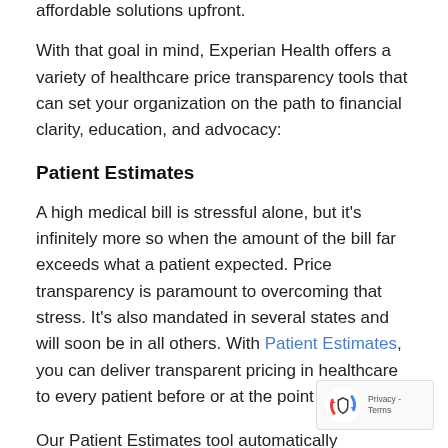affordable solutions upfront.
With that goal in mind, Experian Health offers a variety of healthcare price transparency tools that can set your organization on the path to financial clarity, education, and advocacy:
Patient Estimates
A high medical bill is stressful alone, but it's infinitely more so when the amount of the bill far exceeds what a patient expected. Price transparency is paramount to overcoming that stress. It's also mandated in several states and will soon be in all others. With Patient Estimates, you can deliver transparent pricing in healthcare to every patient before or at the point of service.
Our Patient Estimates tool automatically generates estimates based on treatment costs, payer rates, and patient's eligibility for benefits. The platform takes the guesswork out of the process by automatically storing and